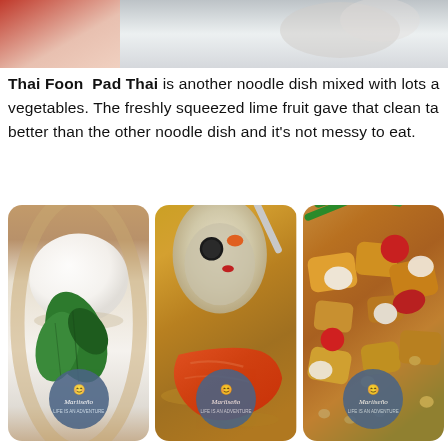[Figure (photo): Partial view of food photos at the top of the page, showing what appears to be a red cloth/packaging on the left and a blurred food item on the right]
Thai Foon  Pad Thai is another noodle dish mixed with lots a vegetables. The freshly squeezed lime fruit gave that clean ta better than the other noodle dish and it's not messy to eat.
[Figure (photo): Three food photos side by side: left photo shows white tofu or dumpling with fresh mint leaves in a bowl; center photo shows a shrimp soup or curry with a ladle scooping ingredients including an olive and carrot; right photo shows a stir-fry dish with green beans, vegetables, pineapple chunks, tomatoes, and white cheese or tofu. Each photo has a Mariseno watermark logo in the bottom center.]